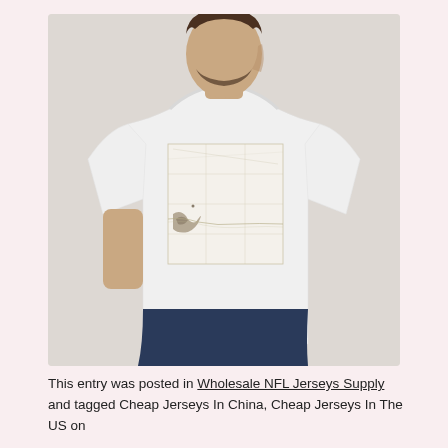[Figure (photo): A man wearing a white t-shirt with a vintage map print on the front, shown from the chest up, looking to the side. Background is light grey.]
This entry was posted in Wholesale NFL Jerseys Supply and tagged Cheap Jerseys In China, Cheap Jerseys In The US on